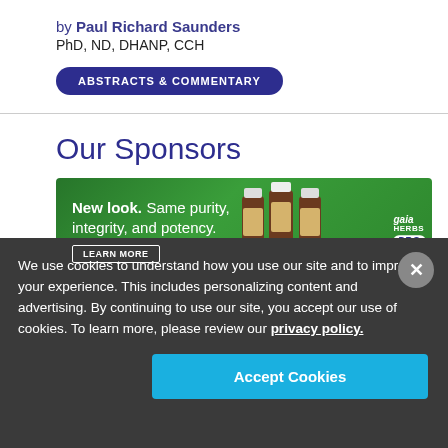by Paul Richard Saunders
PhD, ND, DHANP, CCH
ABSTRACTS & COMMENTARY
Our Sponsors
[Figure (photo): Gaia Herbs PRO advertisement banner with green background showing supplement bottles and text: New look. Same purity, integrity, and potency. LEARN MORE]
We use cookies to understand how you use our site and to improve your experience. This includes personalizing content and advertising. By continuing to use our site, you accept our use of cookies. To learn more, please review our privacy policy.
Accept Cookies